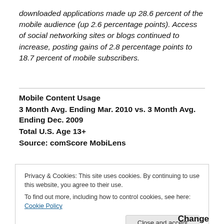downloaded applications made up 28.6 percent of the mobile audience (up 2.6 percentage points). Access of social networking sites or blogs continued to increase, posting gains of 2.8 percentage points to 18.7 percent of mobile subscribers.
Mobile Content Usage
3 Month Avg. Ending Mar. 2010 vs. 3 Month Avg. Ending Dec. 2009
Total U.S. Age 13+
Source: comScore MobiLens
Privacy & Cookies: This site uses cookies. By continuing to use this website, you agree to their use.
To find out more, including how to control cookies, see here: Cookie Policy
Change